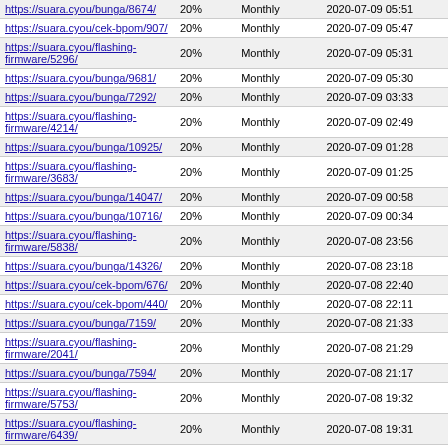| https://suara.cyou/bunga/8674/ | 20% | Monthly | 2020-07-09 05:51 |
| https://suara.cyou/cek-bpom/907/ | 20% | Monthly | 2020-07-09 05:47 |
| https://suara.cyou/flashing-firmware/5296/ | 20% | Monthly | 2020-07-09 05:31 |
| https://suara.cyou/bunga/9681/ | 20% | Monthly | 2020-07-09 05:30 |
| https://suara.cyou/bunga/7292/ | 20% | Monthly | 2020-07-09 03:33 |
| https://suara.cyou/flashing-firmware/4214/ | 20% | Monthly | 2020-07-09 02:49 |
| https://suara.cyou/bunga/10925/ | 20% | Monthly | 2020-07-09 01:28 |
| https://suara.cyou/flashing-firmware/3683/ | 20% | Monthly | 2020-07-09 01:25 |
| https://suara.cyou/bunga/14047/ | 20% | Monthly | 2020-07-09 00:58 |
| https://suara.cyou/bunga/10716/ | 20% | Monthly | 2020-07-09 00:34 |
| https://suara.cyou/flashing-firmware/5838/ | 20% | Monthly | 2020-07-08 23:56 |
| https://suara.cyou/bunga/14326/ | 20% | Monthly | 2020-07-08 23:18 |
| https://suara.cyou/cek-bpom/676/ | 20% | Monthly | 2020-07-08 22:40 |
| https://suara.cyou/cek-bpom/440/ | 20% | Monthly | 2020-07-08 22:11 |
| https://suara.cyou/bunga/7159/ | 20% | Monthly | 2020-07-08 21:33 |
| https://suara.cyou/flashing-firmware/2041/ | 20% | Monthly | 2020-07-08 21:29 |
| https://suara.cyou/bunga/7594/ | 20% | Monthly | 2020-07-08 21:17 |
| https://suara.cyou/flashing-firmware/5753/ | 20% | Monthly | 2020-07-08 19:32 |
| https://suara.cyou/flashing-firmware/6439/ | 20% | Monthly | 2020-07-08 19:31 |
| https://suara.cyou/bunga/11186/ | 20% | Monthly | 2020-07-08 18:42 |
| https://suara.cyou/bunga/10652/ | 20% | Monthly | 2020-07-08 18:09 |
| https://suara.cyou/bunga/7941/ | 20% | Monthly | 2020-07-08 17:54 |
| https://suara.cyou/bunga/9568/ | 20% | Monthly | 2020-07-08 17:53 |